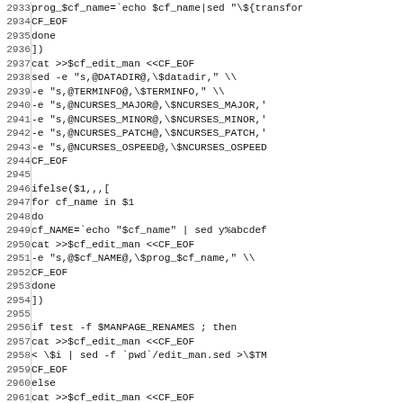Code listing lines 2933-2965, shell script source code